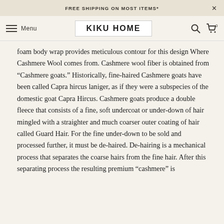FREE SHIPPING ON MOST ITEMS*
KIKU HOME
foam body wrap provides meticulous contour for this design Where Cashmere Wool comes from. Cashmere wool fiber is obtained from “Cashmere goats.” Historically, fine-haired Cashmere goats have been called Capra hircus laniger, as if they were a subspecies of the domestic goat Capra Hircus. Cashmere goats produce a double fleece that consists of a fine, soft undercoat or under-down of hair mingled with a straighter and much coarser outer coating of hair called Guard Hair. For the fine under-down to be sold and processed further, it must be de-haired. De-hairing is a mechanical process that separates the coarse hairs from the fine hair. After this separating process the resulting premium “cashmere” is